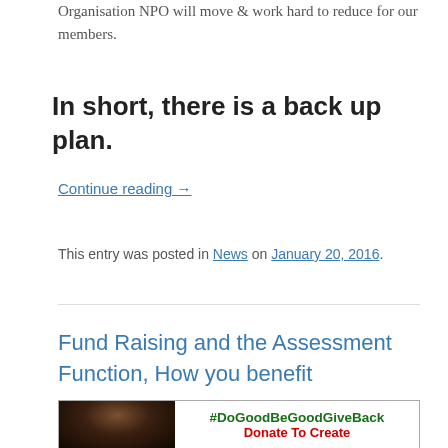Organisation NPO will move & work hard to reduce for our members.
In short, there is a back up plan.
Continue reading →
This entry was posted in News on January 20, 2016.
Fund Raising and the Assessment Function, How you benefit
[Figure (photo): Image with a person's photo on the left and a dark background, alongside text '#DoGoodBeGoodGiveBack' in bold green and 'Donate To Create' in bold red.]